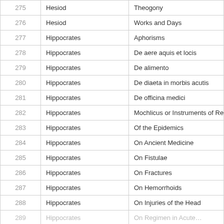| # | Author | Title |
| --- | --- | --- |
| 275 | Hesiod | Theogony |
| 276 | Hesiod | Works and Days |
| 277 | Hippocrates | Aphorisms |
| 278 | Hippocrates | De aere aquis et locis |
| 279 | Hippocrates | De alimento |
| 280 | Hippocrates | De diaeta in morbis acutis |
| 281 | Hippocrates | De officina medici |
| 282 | Hippocrates | Mochlicus or Instruments of Reduction |
| 283 | Hippocrates | Of the Epidemics |
| 284 | Hippocrates | On Ancient Medicine |
| 285 | Hippocrates | On Fistulae |
| 286 | Hippocrates | On Fractures |
| 287 | Hippocrates | On Hemorrhoids |
| 288 | Hippocrates | On Injuries of the Head |
| 289 | Hippocrates | On Regimen in Acute… |